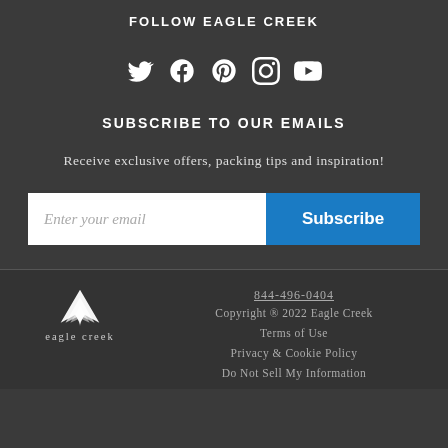FOLLOW EAGLE CREEK
[Figure (infographic): Social media icons: Twitter, Facebook, Pinterest, Instagram, YouTube]
SUBSCRIBE TO OUR EMAILS
Receive exclusive offers, packing tips and inspiration!
Enter your email | Subscribe
[Figure (logo): Eagle Creek logo with mountain/wing icon and text 'eagle creek']
844-496-0404
Copyright © 2022 Eagle Creek
Terms of Use
Privacy & Cookie Policy
Do Not Sell My Information